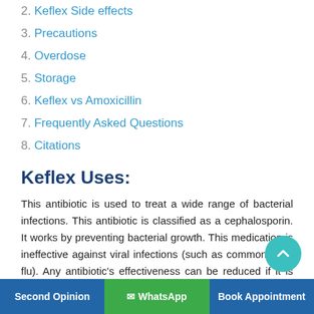2. Keflex Side effects
3. Precautions
4. Overdose
5. Storage
6. Keflex vs Amoxicillin
7. Frequently Asked Questions
8. Citations
Keflex Uses:
This antibiotic is used to treat a wide range of bacterial infections. This antibiotic is classified as a cephalosporin. It works by preventing bacterial growth. This medication is ineffective against viral infections (such as common cold, flu). Any antibiotic's effectiveness can be reduced if it is used or misused unnecessarily.
How to use Keflex:
Second Opinion   WhatsApp   Book Appointment